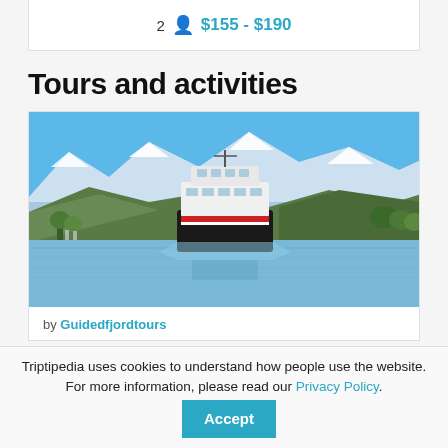Alnwick, United Kingdom   2 persons   $155 - $190
Tours and activities
[Figure (photo): A large white ferry/catamaran vessel on a fjord with snow-capped mountains in the background and green forested hills on both sides. The water reflects the vessel and mountains.]
by Guidedfjordtours
Triptipedia uses cookies to understand how people use the website. For more information, please read our Privacy Policy.
Accept